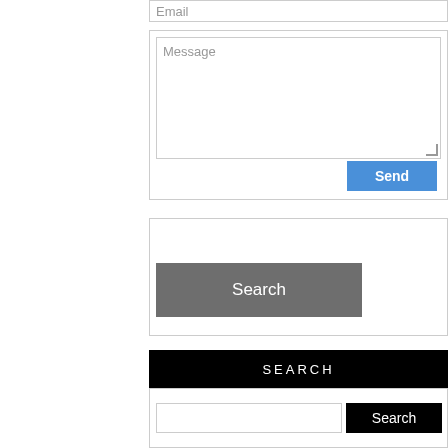[Figure (screenshot): Email input field with placeholder text 'Email']
[Figure (screenshot): Message textarea with placeholder text 'Message' and a blue 'Send' button]
[Figure (screenshot): Gray 'Search' button in a bordered box]
[Figure (screenshot): Black 'SEARCH' header bar]
[Figure (screenshot): Search input field with black 'Search' button]